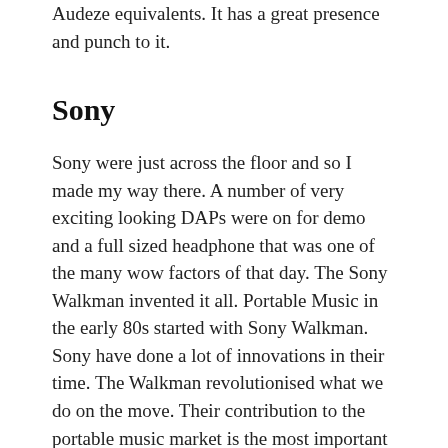Audeze equivalents. It has a great presence and punch to it.
Sony
Sony were just across the floor and so I made my way there. A number of very exciting looking DAPs were on for demo and a full sized headphone that was one of the many wow factors of that day. The Sony Walkman invented it all. Portable Music in the early 80s started with Sony Walkman.  Sony have done a lot of innovations in their time. The Walkman revolutionised what we do on the move. Their contribution to the portable music market is the most important one of them all. Hence the Walkman logo will always be special to me. Sony have been upping their game recently in the Dap market. I listened to the WM 1A first. Great sound